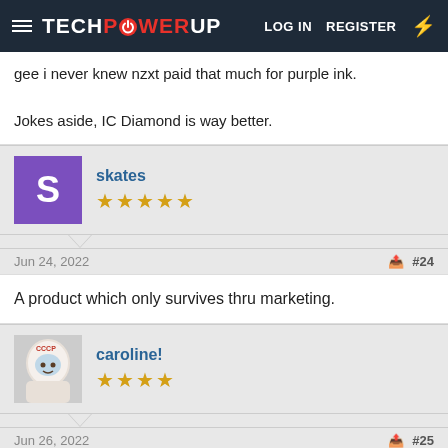TECHPOWERUP — LOG IN  REGISTER
gee i never knew nzxt paid that much for purple ink.

Jokes aside, IC Diamond is way better.
skates
★★★★★
Jun 24, 2022  #24
A product which only survives thru marketing.
caroline!
★★★★
Jun 26, 2022  #25
gotta keep milking gullible unaware gamers huh...